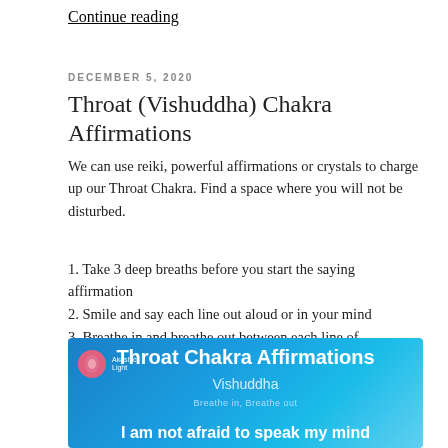Continue reading
DECEMBER 5, 2020
Throat (Vishuddha) Chakra Affirmations
We can use reiki, powerful affirmations or crystals to charge up our Throat Chakra. Find a space where you will not be disturbed.
1. Take 3 deep breaths before you start the saying affirmation
2. Smile and say each line out aloud or in your mind
3. Breathe in and breathe out between each line of affirmation
4. Repeat it 3 times or as many times as you wish
[Figure (screenshot): Blue image banner for Throat Chakra Affirmations - Vishuddha. Contains logo 'Akashic Light', title 'Throat Chakra Affirmations', subtitle 'Vishuddha', text 'Breathe in, Breathe out', and partial text 'I am not afraid to speak my mind']